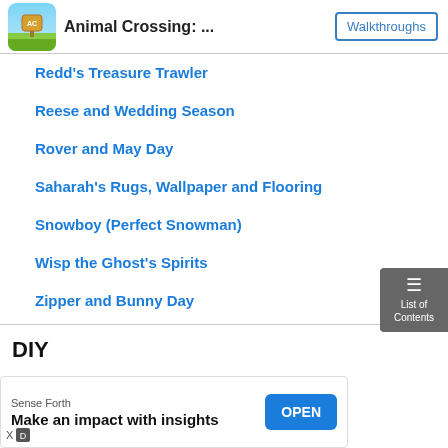Animal Crossing: ...  Walkthroughs
Redd's Treasure Trawler
Reese and Wedding Season
Rover and May Day
Saharah's Rugs, Wallpaper and Flooring
Snowboy (Perfect Snowman)
Wisp the Ghost's Spirits
Zipper and Bunny Day
DIY
Sense Forth — Make an impact with insights — OPEN